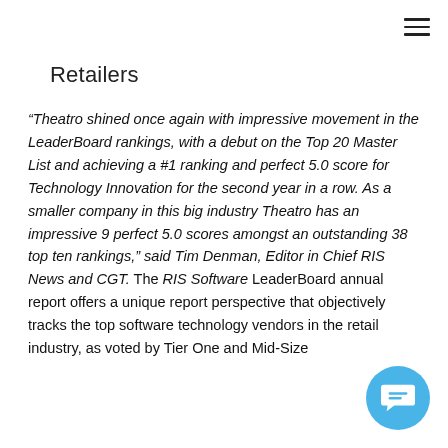Retailers
“Theatro shined once again with impressive movement in the LeaderBoard rankings, with a debut on the Top 20 Master List and achieving a #1 ranking and perfect 5.0 score for Technology Innovation for the second year in a row. As a smaller company in this big industry Theatro has an impressive 9 perfect 5.0 scores amongst an outstanding 38 top ten rankings,” said Tim Denman, Editor in Chief RIS News and CGT. The RIS Software LeaderBoard annual report offers a unique report perspective that objectively tracks the top software technology vendors in the retail industry, as voted by Tier One and Mid-Size